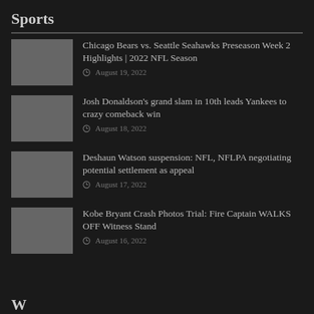Sports
Chicago Bears vs. Seattle Seahawks Preseason Week 2 Highlights | 2022 NFL Season
August 19, 2022
Josh Donaldson's grand slam in 10th leads Yankees to crazy comeback win
August 18, 2022
Deshaun Watson suspension: NFL, NFLPA negotiating potential settlement as appeal
August 17, 2022
Kobe Bryant Crash Photos Trial: Fire Captain WALKS OFF Witness Stand
August 16, 2022
World